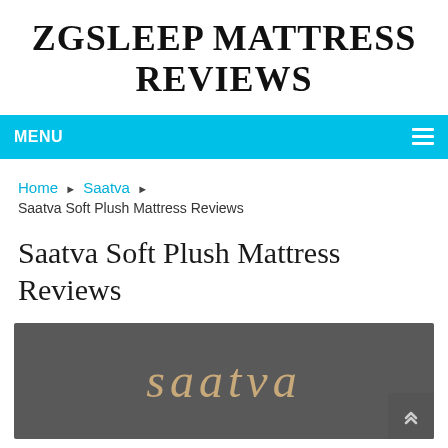ZGSLEEP MATTRESS REVIEWS
MENU
Home ▶ Saatva ▶
Saatva Soft Plush Mattress Reviews
Saatva Soft Plush Mattress Reviews
[Figure (logo): Saatva brand logo in tan/beige text on a dark gray background]